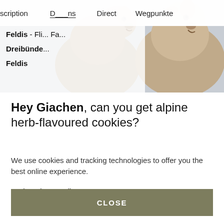[Figure (screenshot): Website navigation bar with partial menu items: 'scription', 'D', 'ns', 'Direct', 'Wegpunkte' and two alpine goats (Giachen) in the background photo]
Feldis - Fl... Fa...
Dreibünde...
Feldis
Hey Giachen, can you get alpine herb-flavoured cookies?
We use cookies and tracking technologies to offer you the best online experience.
To the privacy policy
CLOSE